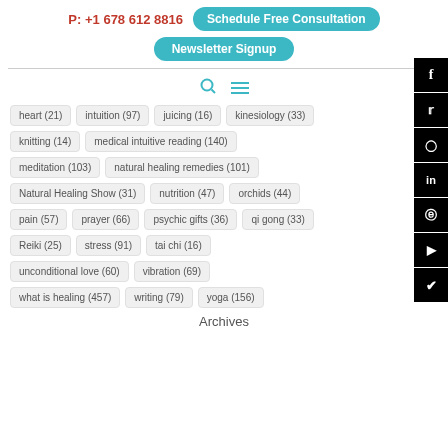P: +1 678 612 8816
Schedule Free Consultation
Newsletter Signup
heart (21)
intuition (97)
juicing (16)
kinesiology (33)
knitting (14)
medical intuitive reading (140)
meditation (103)
natural healing remedies (101)
Natural Healing Show (31)
nutrition (47)
orchids (44)
pain (57)
prayer (66)
psychic gifts (36)
qi gong (33)
Reiki (25)
stress (91)
tai chi (16)
unconditional love (60)
vibration (69)
what is healing (457)
writing (79)
yoga (156)
Archives